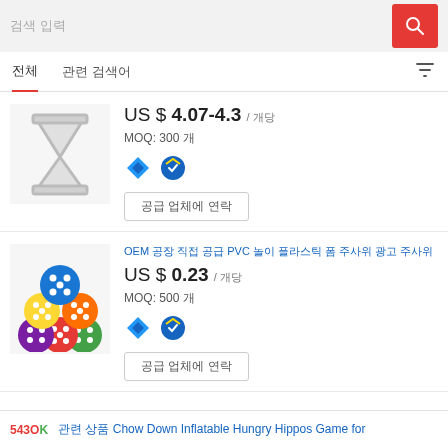검색 입력
전체  관련 검색어
US $ 4.07-4.3 / 개당  MOQ: 300 개
공급 업체에 연락
OEM 공장 직접 공급 PVC 놀이 플라스틱 폼 주사위 광고 주사위
US $ 0.23 / 개당  MOQ: 500 개
공급 업체에 연락
543OK  관련 상품 Chow Down Inflatable Hungry Hippos Game for